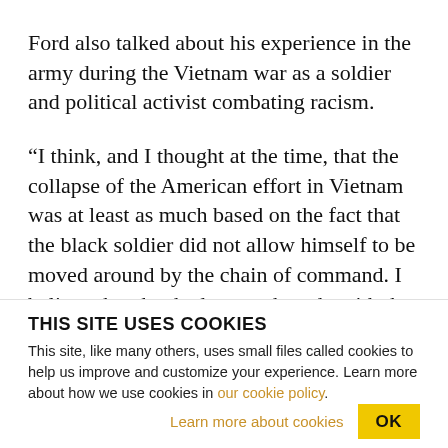Ford also talked about his experience in the army during the Vietnam war as a soldier and political activist combating racism.
“I think, and I thought at the time, that the collapse of the American effort in Vietnam was at least as much based on the fact that the black soldier did not allow himself to be moved around by the chain of command. I believe that that had as much to do with the U.S. withdrawal as demonstrations back home,”
THIS SITE USES COOKIES
This site, like many others, uses small files called cookies to help us improve and customize your experience. Learn more about how we use cookies in our cookie policy.
Learn more about cookies   OK